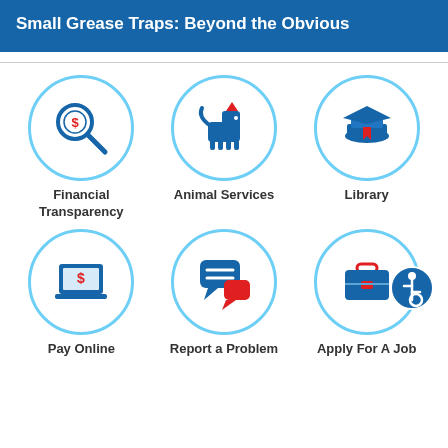Small Grease Traps: Beyond the Obvious
[Figure (infographic): Six circular icon buttons for government services: Financial Transparency (magnifying glass with dollar sign), Animal Services (dog silhouette with red collar), Library (graduation cap with book and bookmark), Pay Online (laptop with dollar sign), Report a Problem (speech bubbles), Apply For A Job (briefcase). Each icon is inside a light blue circle border. An accessibility icon badge is in the bottom right corner.]
Financial Transparency
Animal Services
Library
Pay Online
Report a Problem
Apply For A Job